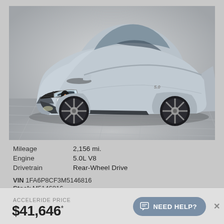[Figure (photo): Silver Ford Mustang GT coupe photographed from front-left angle on a tiled showroom floor, gray background.]
| Mileage | 2,156 mi. |
| Engine | 5.0L V8 |
| Drivetrain | Rear-Wheel Drive |
VIN 1FA6P8CF3M5146816
Stock M5146816
ACCELERIDE PRICE
$41,646*
NEED HELP?